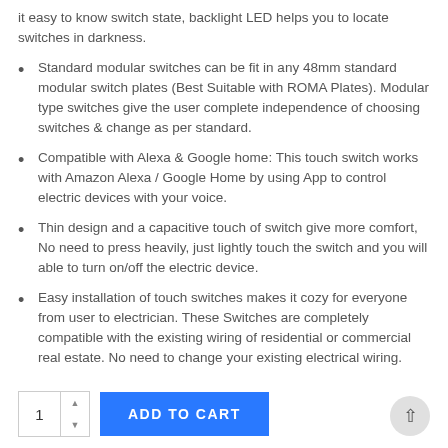it easy to know switch state, backlight LED helps you to locate switches in darkness.
Standard modular switches can be fit in any 48mm standard modular switch plates (Best Suitable with ROMA Plates). Modular type switches give the user complete independence of choosing switches & change as per standard.
Compatible with Alexa & Google home: This touch switch works with Amazon Alexa / Google Home by using App to control electric devices with your voice.
Thin design and a capacitive touch of switch give more comfort, No need to press heavily, just lightly touch the switch and you will able to turn on/off the electric device.
Easy installation of touch switches makes it cozy for everyone from user to electrician. These Switches are completely compatible with the existing wiring of residential or commercial real estate. No need to change your existing electrical wiring.
[Figure (screenshot): Quantity selector with value 1 and up/down arrows, ADD TO CART button in blue, and a back-to-top arrow button at bottom right.]